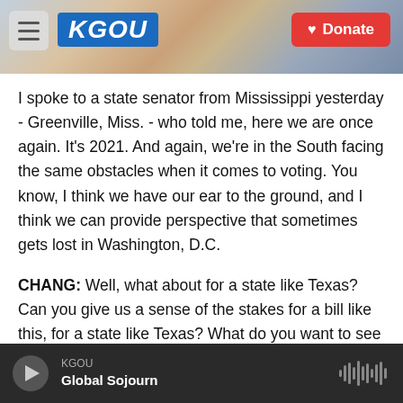[Figure (screenshot): KGOU radio website header with city skyline photo background, hamburger menu button, KGOU blue logo, and red Donate button]
I spoke to a state senator from Mississippi yesterday - Greenville, Miss. - who told me, here we are once again. It's 2021. And again, we're in the South facing the same obstacles when it comes to voting. You know, I think we have our ear to the ground, and I think we can provide perspective that sometimes gets lost in Washington, D.C.
CHANG: Well, what about for a state like Texas? Can you give us a sense of the stakes for a bill like this, for a state like Texas? What do you want to see change in your state?
KGOU Global Sojourn